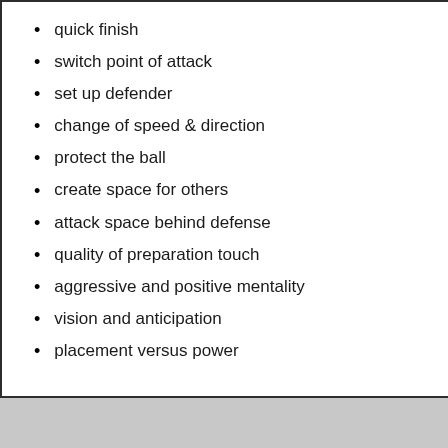quick finish
switch point of attack
set up defender
change of speed & direction
protect the ball
create space for others
attack space behind defense
quality of preparation touch
aggressive and positive mentality
vision and anticipation
placement versus power